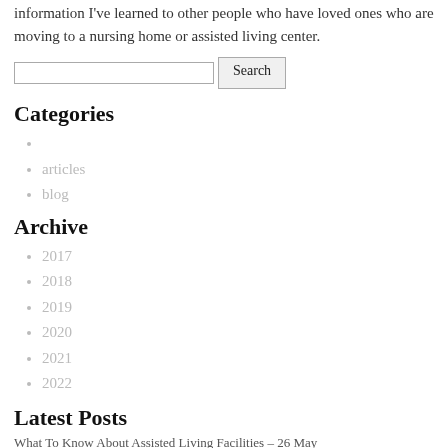information I've learned to other people who have loved ones who are moving to a nursing home or assisted living center.
[Figure (other): Search input field with Search button]
Categories
articles
blog
Archive
2017
2018
2019
2020
2021
2022
Latest Posts
What To Know About Assisted Living Facilities – 26 May